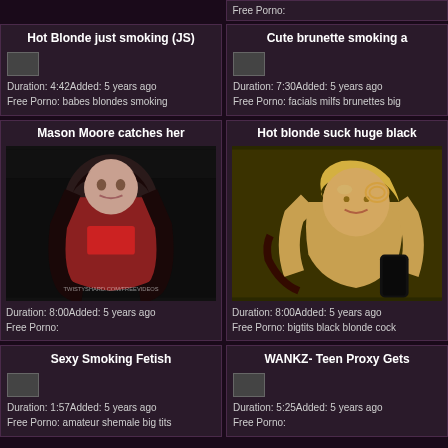Free Porno:
Hot Blonde just smoking (JS)
Duration: 4:42Added: 5 years ago
Free Porno: babes blondes smoking
Cute brunette smoking a
Duration: 7:30Added: 5 years ago
Free Porno: facials milfs brunettes big
Mason Moore catches her
Duration: 8:00Added: 5 years ago
Free Porno:
Hot blonde suck huge black
Duration: 8:00Added: 5 years ago
Free Porno: bigtits black blonde cock
Sexy Smoking Fetish
Duration: 1:57Added: 5 years ago
Free Porno: amateur shemale big tits
WANKZ- Teen Proxy Gets
Duration: 5:25Added: 5 years ago
Free Porno: